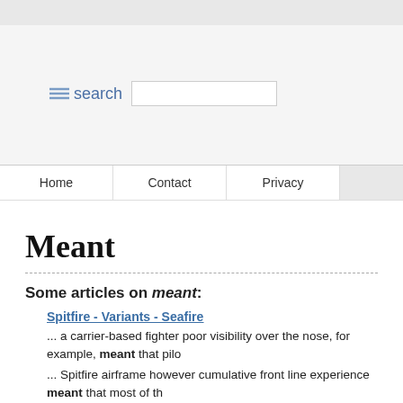[Figure (screenshot): Website header with search bar and navigation menu containing Home, Contact, Privacy links]
Meant
Some articles on meant:
Spitfire - Variants - Seafire
... a carrier-based fighter poor visibility over the nose, for example, meant that pilo...
... Spitfire airframe however cumulative front line experience meant that most of th...
...